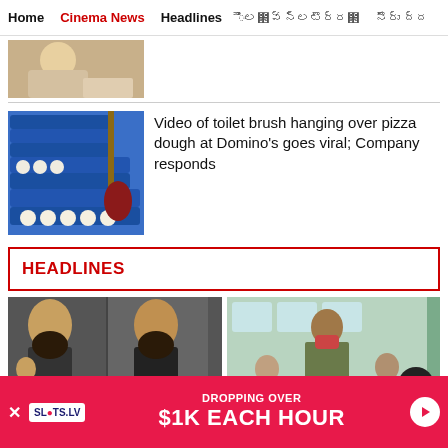Home | Cinema News | Headlines | [text in foreign script] | [text in foreign script]
[Figure (photo): Partial view of a person in light-colored clothing, cropped at top of page]
[Figure (photo): Blue plastic trays stacked with pizza dough balls, mop/brush visible in background]
Video of toilet brush hanging over pizza dough at Domino's goes viral; Company responds
HEADLINES
[Figure (photo): Split image of a bearded man gesturing, two frames side by side]
[Figure (photo): A conductor or worker on a bus handing something to passengers wearing masks]
[Figure (other): Advertisement banner: SLOTS.LV - DROPPING OVER $1K EACH HOUR]